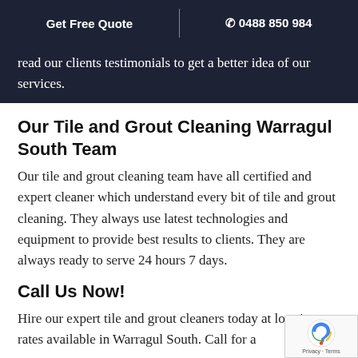Get Free Quote | ☎ 0488 850 984
read our clients testimonials to get a better idea of our services.
Our Tile and Grout Cleaning Warragul South Team
Our tile and grout cleaning team have all certified and expert cleaner which understand every bit of tile and grout cleaning. They always use latest technologies and equipment to provide best results to clients. They are always ready to serve 24 hours 7 days.
Call Us Now!
Hire our expert tile and grout cleaners today at lo price rates available in Warragul South. Call for a